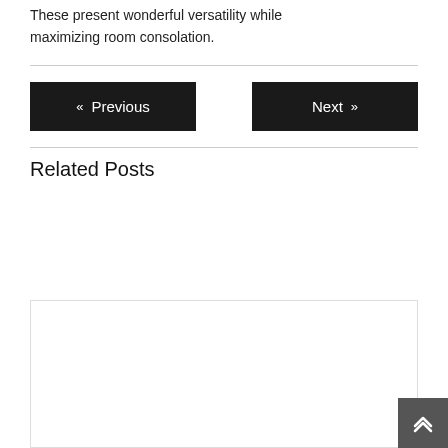These present wonderful versatility while maximizing room consolation.
« Previous    Next »
Related Posts